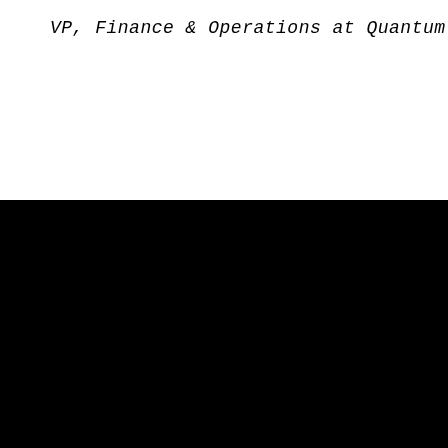VP, Finance & Operations at Quantum Health
✉ Contact Us
© 2022 Meridian Development